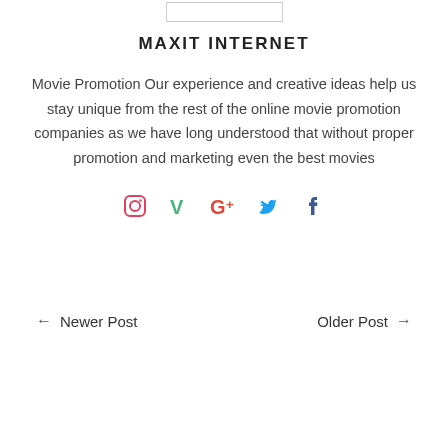[Figure (other): Small rectangular outlined box at the top center, possibly a logo placeholder]
MAXIT INTERNET
Movie Promotion Our experience and creative ideas help us stay unique from the rest of the online movie promotion companies as we have long understood that without proper promotion and marketing even the best movies
[Figure (other): Row of social media icons: Instagram, Vine, Google+, Twitter, Facebook]
← Newer Post
Older Post →